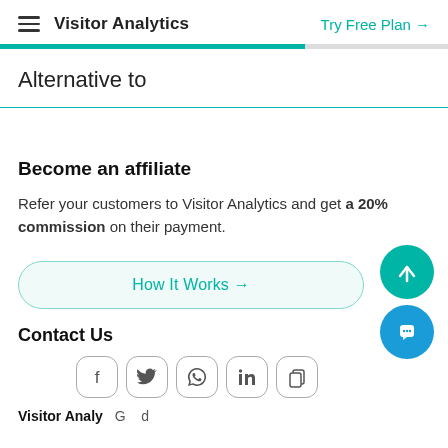Visitor Analytics — Try Free Plan →
Alternative to
Become an affiliate
Refer your customers to Visitor Analytics and get a 20% commission on their payment.
How It Works →
Contact Us
Visitor Analy...